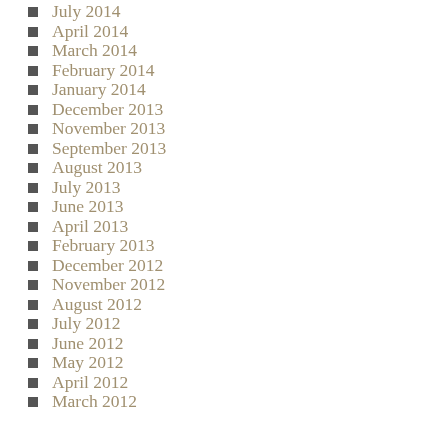July 2014
April 2014
March 2014
February 2014
January 2014
December 2013
November 2013
September 2013
August 2013
July 2013
June 2013
April 2013
February 2013
December 2012
November 2012
August 2012
July 2012
June 2012
May 2012
April 2012
March 2012